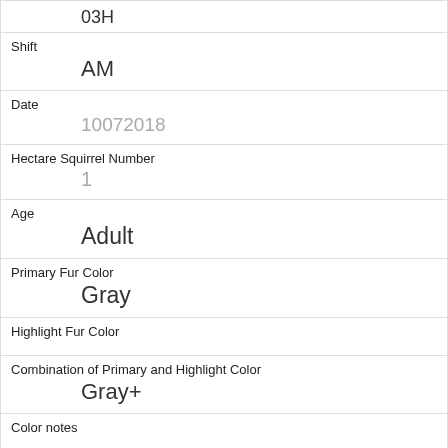Shift
AM
Date
10072018
Hectare Squirrel Number
1
Age
Adult
Primary Fur Color
Gray
Highlight Fur Color
Combination of Primary and Highlight Color
Gray+
Color notes
Location
Ground Plane
Above Ground Sighter Measurement
FALSE